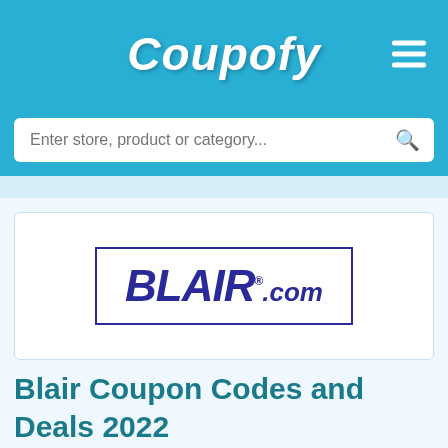Coupofy
Enter store, product or category...
[Figure (logo): BLAIR.com logo — the word BLAIR in bold dark blue italic serif font with a registered trademark dot, followed by .com in smaller italic font, inside a dark blue rectangular border]
Blair Coupon Codes and Deals 2022